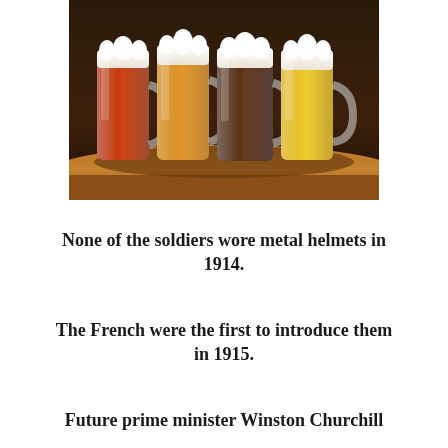[Figure (photo): Four glass beer mugs filled with different shades of beer (red, amber, dark, and light golden) sitting on a wooden table, each with a foam head on top.]
None of the soldiers wore metal helmets in 1914.
The French were the first to introduce them in 1915.
Future prime minister Winston Churchill